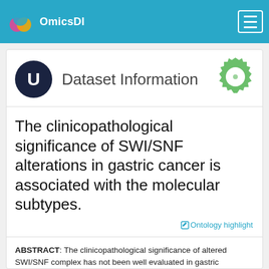OmicsDI
Dataset Information
The clinicopathological significance of SWI/SNF alterations in gastric cancer is associated with the molecular subtypes.
Ontology highlight
ABSTRACT: The clinicopathological significance of altered SWI/SNF complex has not been well evaluated in gastric